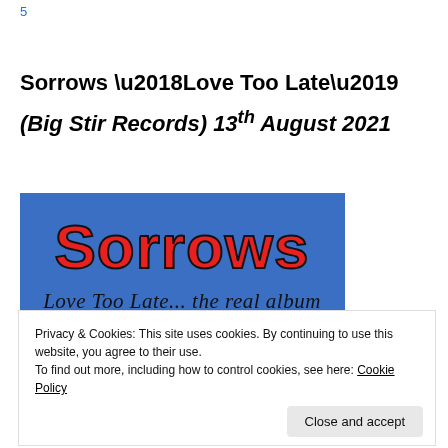5
Sorrows ‘Love Too Late’
(Big Stir Records)  13th August 2021
[Figure (illustration): Album cover for Sorrows 'Love Too Late... the real album' on a blue background with stylized red and black logo text and a partial face with dark hair.]
Privacy & Cookies: This site uses cookies. By continuing to use this website, you agree to their use.
To find out more, including how to control cookies, see here: Cookie Policy
Close and accept